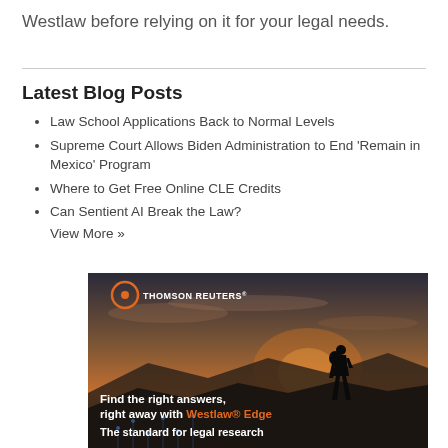Westlaw before relying on it for your legal needs.
Latest Blog Posts
Law School Applications Back to Normal Levels
Supreme Court Allows Biden Administration to End 'Remain in Mexico' Program
Where to Get Free Online CLE Credits
Can Sentient AI Break the Law?
View More »
[Figure (photo): Thomson Reuters advertisement showing a silhouetted hiker on a mountain at sunset with text: 'Find the right answers, right away with Westlaw® Edge' and 'The standard for legal research']